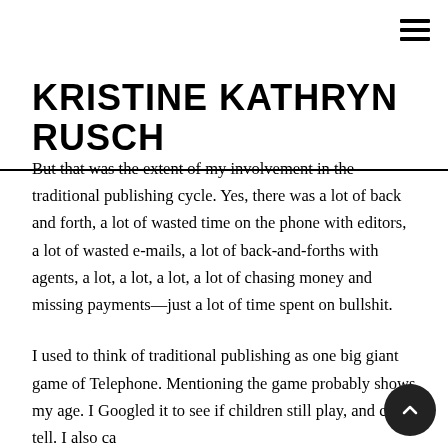[hamburger menu icon]
KRISTINE KATHRYN RUSCH
But that was the extent of my involvement in the traditional publishing cycle. Yes, there was a lot of back and forth, a lot of wasted time on the phone with editors, a lot of wasted e-mails, a lot of back-and-forths with agents, a lot, a lot, a lot, a lot of chasing money and missing payments—just a lot of time spent on bullshit.
I used to think of traditional publishing as one big giant game of Telephone. Mentioning the game probably shows my age. I Googled it to see if children still play, and can't tell. I also ca